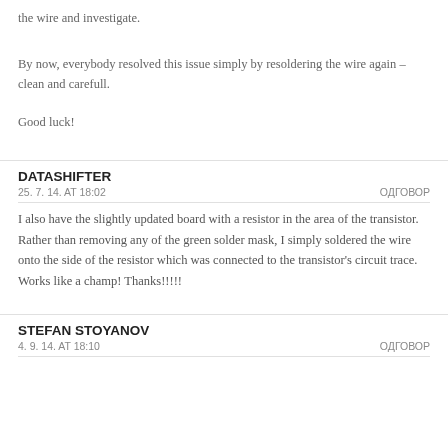the wire and investigate.
By now, everybody resolved this issue simply by resoldering the wire again – clean and carefull.
Good luck!
DATASHIFTER
25. 7. 14. AT 18:02    ОДГОВОР
I also have the slightly updated board with a resistor in the area of the transistor. Rather than removing any of the green solder mask, I simply soldered the wire onto the side of the resistor which was connected to the transistor's circuit trace. Works like a champ! Thanks!!!!!
STEFAN STOYANOV
4. 9. 14. AT 18:10    ОДГОВОР